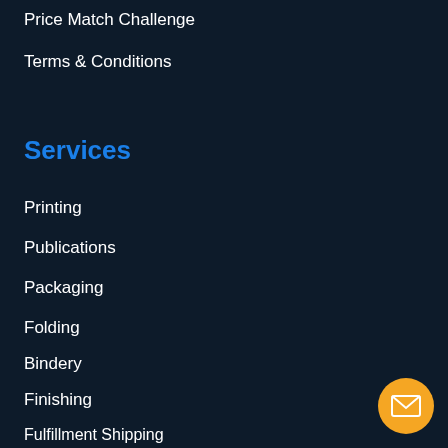Price Match Challenge
Terms & Conditions
Services
Printing
Publications
Packaging
Folding
Bindery
Finishing
Fulfillment Shipping
Inks
Die Cutting